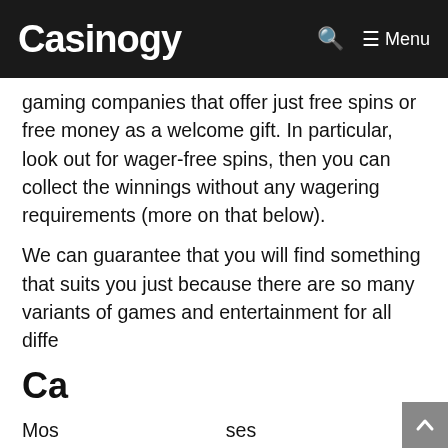Casinogy   🔍   ≡ Menu
gaming companies that offer just free spins or free money as a welcome gift. In particular, look out for wager-free spins, then you can collect the winnings without any wagering requirements (more on that below).
We can guarantee that you will find something that suits you just because there are so many variants of games and entertainment for all diffe...
Ca...
Mos... ses whe... ing
[Figure (screenshot): Popup modal with a dark gray background, an email input field labeled 'Email *' in blue, and a bright green CTA button reading 'Get FREE SPINS now!' in bold black text. A close button (×) is in the bottom-right corner.]